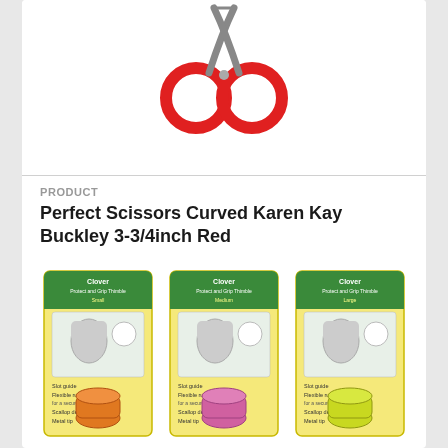[Figure (photo): Red-handled curved scissors product photo on white background, top portion visible]
PRODUCT
Perfect Scissors Curved Karen Kay Buckley 3-3/4inch Red
$29.50
[Figure (photo): Three Clover Protect and Grip Thimble product packages in small, medium sizes with orange, pink, and yellow thimbles]